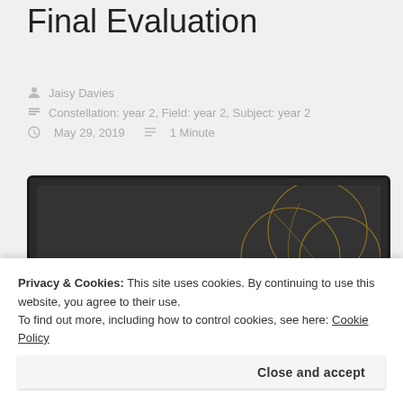Final Evaluation
Jaisy Davies
Constellation: year 2, Field: year 2, Subject: year 2
May 29, 2019   1 Minute
[Figure (screenshot): Screenshot of a monitor/laptop screen showing a dark background with circular overlapping ring designs in gold/yellow and the text 'SYROLE' in large golden letters]
Privacy & Cookies: This site uses cookies. By continuing to use this website, you agree to their use.
To find out more, including how to control cookies, see here: Cookie Policy
Close and accept